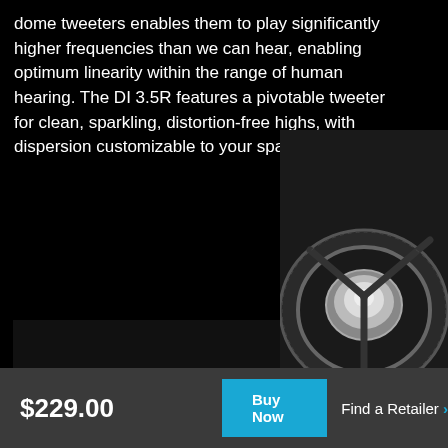dome tweeters enables them to play significantly higher frequencies than we can hear, enabling optimum linearity within the range of human hearing. The DI 3.5R features a pivotable tweeter for clean, sparkling, distortion-free highs, with dispersion customizable to your space.
[Figure (photo): Close-up black and white photo of a speaker woofer cone showing the surround edge and dust cap]
[Figure (photo): Close-up black and white photo of a speaker tweeter dome showing the pivotable bracket and surrounding driver]
$229.00
Buy Now
Find a Retailer >